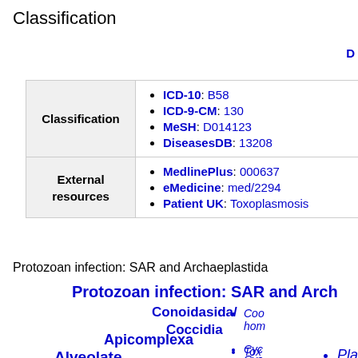Classification
|  |  |
| --- | --- |
| Classification | ICD-10: B58 | ICD-9-CM: 130 | MeSH: D014123 | DiseasesDB: 13208 |
| External resources | MedlinePlus: 000637 | eMedicine: med/2294 | Patient UK: Toxoplasmosis |
Protozoan infection: SAR and Archaeplastida
Protozoan infection: SAR and Arch...
Coo... hom...
Cys...
Cyc...
Tox...
Conoidasida/ Coccidia
Apicomplexa
Alveolate
Pla...